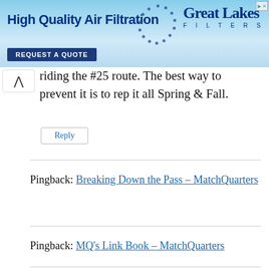[Figure (other): Advertisement banner for Great Lakes Filters — High Quality Air Filtration with 'REQUEST A QUOTE' button]
riding the #25 route. The best way to prevent it is to rep it all Spring & Fall.
Reply
Pingback: Breaking Down the Pass – MatchQuarters
Pingback: MQ's Link Book – MatchQuarters